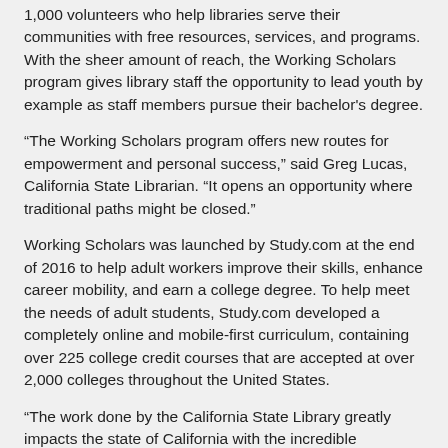1,000 volunteers who help libraries serve their communities with free resources, services, and programs. With the sheer amount of reach, the Working Scholars program gives library staff the opportunity to lead youth by example as staff members pursue their bachelor's degree.
“The Working Scholars program offers new routes for empowerment and personal success,” said Greg Lucas, California State Librarian. “It opens an opportunity where traditional paths might be closed.”
Working Scholars was launched by Study.com at the end of 2016 to help adult workers improve their skills, enhance career mobility, and earn a college degree. To help meet the needs of adult students, Study.com developed a completely online and mobile-first curriculum, containing over 225 college credit courses that are accepted at over 2,000 colleges throughout the United States.
“The work done by the California State Library greatly impacts the state of California with the incredible information and services they provide to the community. With a college degree, these groups of students can create career mobility for themselves and have a potential to earn 50 percent more lifetime earnings from this program,” said Chris Mancini, Chief Growth Officer at Study.com. “We love this partnership with